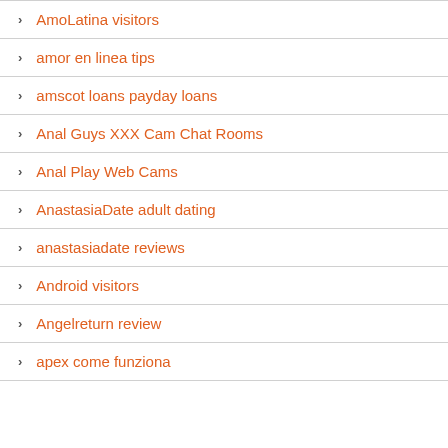AmoLatina visitors
amor en linea tips
amscot loans payday loans
Anal Guys XXX Cam Chat Rooms
Anal Play Web Cams
AnastasiaDate adult dating
anastasiadate reviews
Android visitors
Angelreturn review
apex come funziona